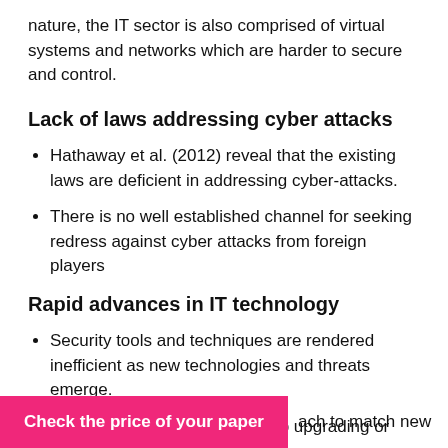nature, the IT sector is also comprised of virtual systems and networks which are harder to secure and control.
Lack of laws addressing cyber attacks
Hathaway et al. (2012) reveal that the existing laws are deficient in addressing cyber-attacks.
There is no well established channel for seeking redress against cyber attacks from foreign players
Rapid advances in IT technology
Security tools and techniques are rendered inefficient as new technologies and threats emerge.
The Government needs to keep upgrading or reach to match new
Check the price of your paper